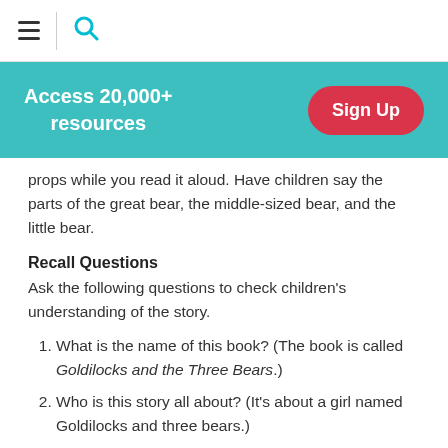Access 20,000+ resources | Sign Up
props while you read it aloud. Have children say the parts of the great bear, the middle-sized bear, and the little bear.
Recall Questions
Ask the following questions to check children's understanding of the story.
1. What is the name of this book? (The book is called Goldilocks and the Three Bears.)
2. Who is this story all about? (It's about a girl named Goldilocks and three bears.)
3. What is the first thing that happens in the story? (The bears go out for a walk because their porridge is too hot to eat.)